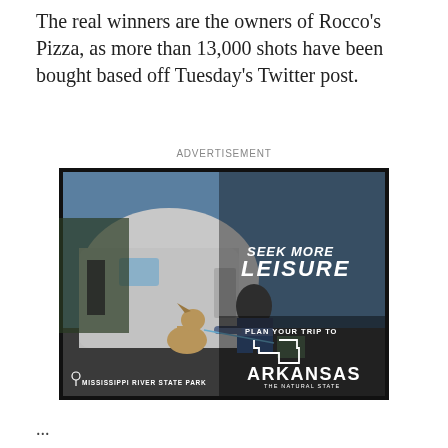The real winners are the owners of Rocco's Pizza, as more than 13,000 shots have been bought based off Tuesday's Twitter post.
ADVERTISEMENT
[Figure (photo): Arkansas tourism advertisement showing a man sitting outdoors with a dog near an Airstream trailer. Text reads: SEEK MORE LEISURE / PLAN YOUR TRIP TO ARKANSAS THE NATURAL STATE / MISSISSIPPI RIVER STATE PARK]
...